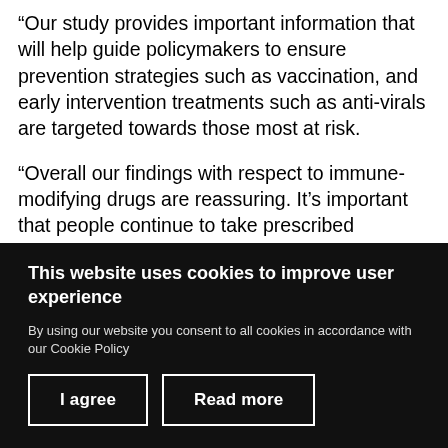“Our study provides important information that will help guide policymakers to ensure prevention strategies such as vaccination, and early intervention treatments such as anti-virals are targeted towards those most at risk.
“Overall our findings with respect to immune-modifying drugs are reassuring. It’s important that people continue to take prescribed medication and discuss treatment decisions with their physicians and getting
This website uses cookies to improve user experience
By using our website you consent to all cookies in accordance with our Cookie Policy
I agree
Read more